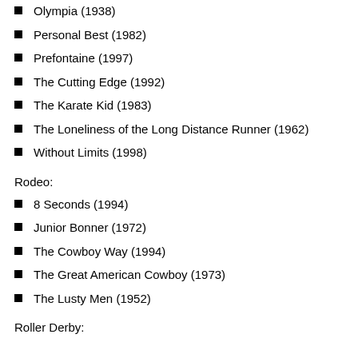Olympia (1938)
Personal Best (1982)
Prefontaine (1997)
The Cutting Edge (1992)
The Karate Kid (1983)
The Loneliness of the Long Distance Runner (1962)
Without Limits (1998)
Rodeo:
8 Seconds (1994)
Junior Bonner (1972)
The Cowboy Way (1994)
The Great American Cowboy (1973)
The Lusty Men (1952)
Roller Derby: